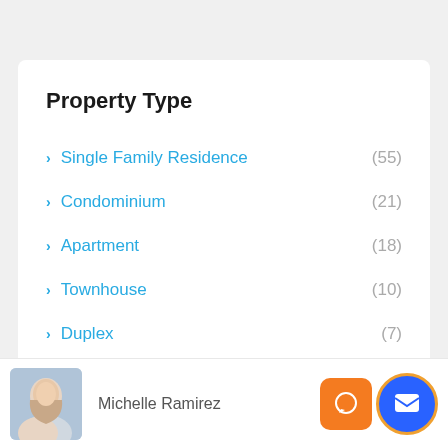Property Type
Single Family Residence (55)
Condominium (21)
Apartment (18)
Townhouse (10)
Duplex (7)
Manufactured Home (4)
Cabin (1)
Michelle Ramirez